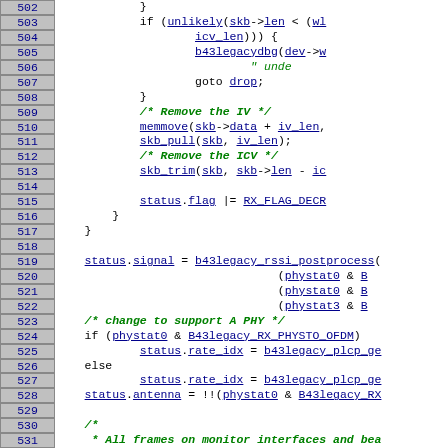[Figure (screenshot): Source code listing lines 502-531, C kernel code for b43legacy wireless driver, showing decryption logic and RX status handling]